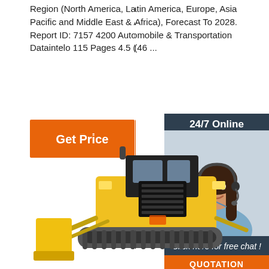Region (North America, Latin America, Europe, Asia Pacific and Middle East & Africa), Forecast To 2028. Report ID: 7157 4200 Automobile & Transportation Dataintelo 115 Pages 4.5 (46 ...
[Figure (other): Orange 'Get Price' button]
[Figure (photo): 24/7 Online chat sidebar panel with a female customer support agent wearing a headset, and an orange QUOTATION button below]
[Figure (photo): Yellow bulldozer/construction vehicle on white background, front-facing view showing the blade, cab, and tracks]